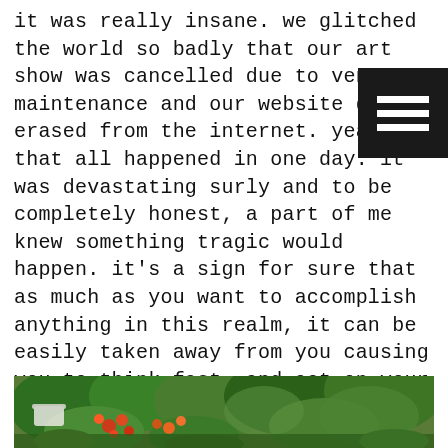it was really insane. we glitched the world so badly that our art show was cancelled due to venue maintenance and our website got erased from the internet. yeah, that all happened in one day. it was devastating surly and to be completely honest, a part of me knew something tragic would happen. it's a sign for sure that as much as you want to accomplish anything in this realm, it can be easily taken away from you causing you to think fast, and act on your toes and release your attachment to certain things. it was unbelievable.
[Figure (photo): Photograph of a garden scene with lush green foliage, colorful flowers including red/orange blooms, and some white objects, viewed from above/slightly elevated angle.]